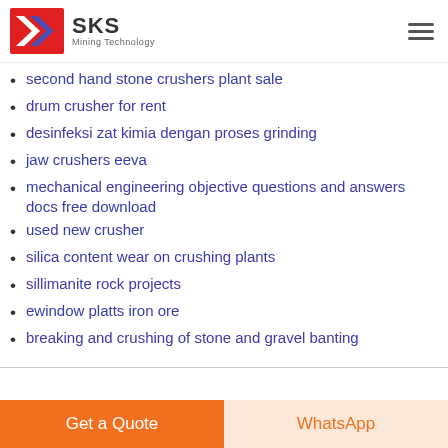SKS Mining Technology
second hand stone crushers plant sale
drum crusher for rent
desinfeksi zat kimia dengan proses grinding
jaw crushers eeva
mechanical engineering objective questions and answers docs free download
used new crusher
silica content wear on crushing plants
sillimanite rock projects
ewindow platts iron ore
breaking and crushing of stone and gravel banting
Get a Quote | WhatsApp